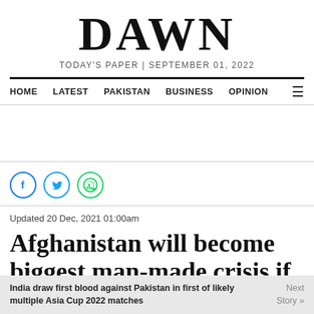DAWN
TODAY'S PAPER | SEPTEMBER 01, 2022
HOME   LATEST   PAKISTAN   BUSINESS   OPINION
[Figure (other): Social share icons: Facebook, Twitter, WhatsApp]
Updated 20 Dec, 2021 01:00am
Afghanistan will become biggest man-made crisis if world doesn't
India draw first blood against Pakistan in first of likely multiple Asia Cup 2022 matches   Next Story »